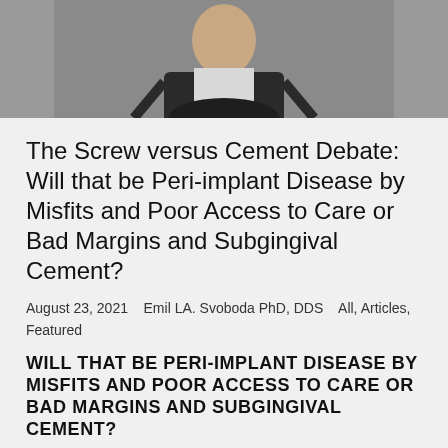[Figure (photo): Partial photo of a person in a dark suit with hands behind head, cropped to show torso and lower face area against a gray background]
The Screw versus Cement Debate: Will that be Peri-implant Disease by Misfits and Poor Access to Care or Bad Margins and Subgingival Cement?
August 23, 2021   Emil LA. Svoboda PhD, DDS   All, Articles, Featured
WILL THAT BE PERI-IMPLANT DISEASE BY MISFITS AND POOR ACCESS TO CARE OR BAD MARGINS AND SUBGINGIVAL CEMENT?
Abstract: Patients that have their prostheses